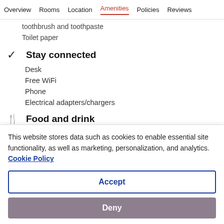Overview  Rooms  Location  Amenities  Policies  Reviews
toothbrush and toothpaste
Toilet paper
Stay connected
Desk
Free WiFi
Phone
Electrical adapters/chargers
Food and drink
This website stores data such as cookies to enable essential site functionality, as well as marketing, personalization, and analytics. Cookie Policy
Accept
Deny